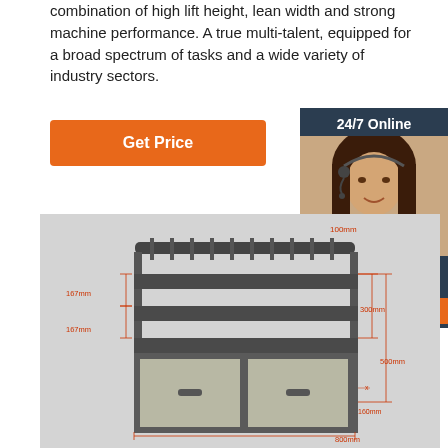combination of high lift height, lean width and strong machine performance. A true multi-talent, equipped for a broad spectrum of tasks and a wide variety of industry sectors.
[Figure (other): Orange 'Get Price' button]
[Figure (infographic): 24/7 Online chat widget with photo of woman wearing headset and 'Click here for free chat!' text and orange QUOTATION button]
[Figure (engineering-diagram): 3D engineering diagram of a storage/workshop cart with dimensions labeled: 100mm (top), 167mm x2 (left side shelves), 300mm, 500mm (right side), 800mm (bottom), showing drawers and shelving unit with measurement annotations in red]